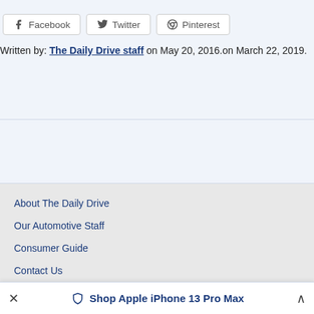Facebook   Twitter   Pinterest
Written by: The Daily Drive staff on May 20, 2016.on March 22, 2019.
About The Daily Drive
Our Automotive Staff
Consumer Guide
Contact Us
Privacy Policy
Shop Apple iPhone 13 Pro Max